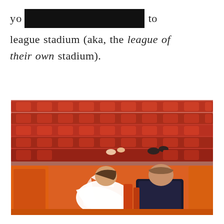yo [REDACTED] to league stadium (aka, the league of their own stadium).
[Figure (photo): A bride and groom sitting in orange/red stadium seats viewed from behind, with their feet propped up on the seats in front of them. Multiple rows of empty red stadium seats visible.]